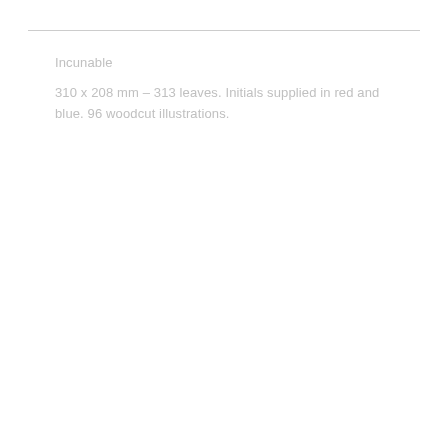Incunable
310 x 208 mm – 313 leaves. Initials supplied in red and blue. 96 woodcut illustrations.